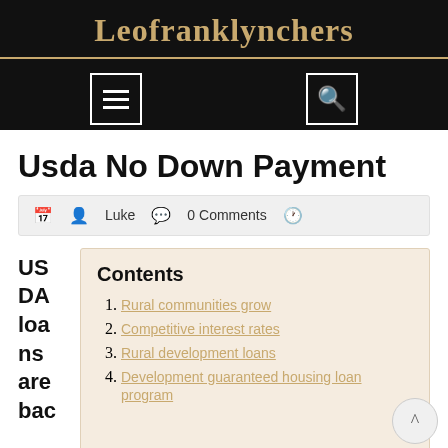Leofranklynchers
Usda No Down Payment
Luke  0 Comments
Contents
1. Rural communities grow
2. Competitive interest rates
3. Rural development loans
4. Development guaranteed housing loan program
USDA loans are backed by the United States Department of Agriculture and allow you